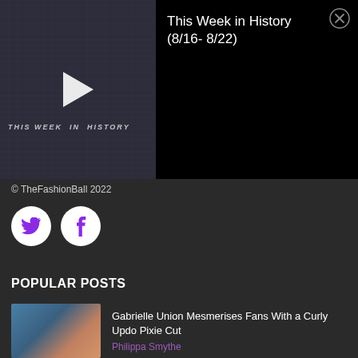[Figure (screenshot): Video thumbnail showing 'THIS WEEK IN HISTORY' text with play button on dark newspaper background]
This Week in History (8/16- 8/22)
© TheFashionBall 2022
[Figure (logo): Twitter bird icon in white circle]
[Figure (logo): Facebook 'f' icon in white circle]
POPULAR POSTS
[Figure (photo): Photo of smiling woman touching her face, wearing pink top, blue background]
Gabrielle Union Mesmerises Fans With a Curly Updo Pixie Cut
Philippa Smythe
[Figure (photo): Photo of person browsing clothes in a store]
Here Is How You Can Be a Mindful Shopper
Polly Rosie
[Figure (photo): Partial photo, bottom of page]
People Are Giving Their Nails a Summer